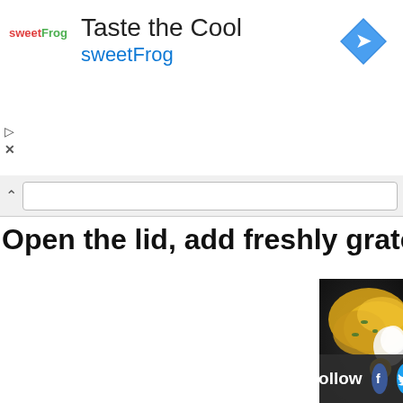[Figure (screenshot): Advertisement banner for sweetFrog frozen yogurt with logo, 'Taste the Cool' title, 'sweetFrog' subtitle in blue, and a blue diamond navigation arrow icon on the right.]
Open the lid, add freshly grated coc
[Figure (photo): Close-up photo of a dark pan containing crumbled yellow turmeric-spiced food (possibly poha or upma) with green herbs and white grated coconut, with a small circular watermark/logo in the lower right.]
Follow